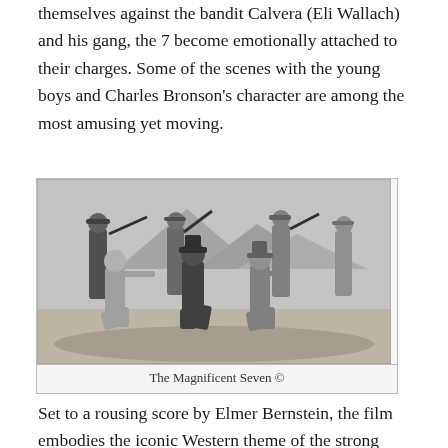themselves against the bandit Calvera (Eli Wallach) and his gang, the 7 become emotionally attached to their charges. Some of the scenes with the young boys and Charles Bronson’s character are among the most amusing yet moving.
[Figure (photo): Black and white photograph of seven men in Western attire, some kneeling and some standing, in a shooting pose outdoors with mountains in background. Scene from The Magnificent Seven.]
The Magnificent Seven ©
Set to a rousing score by Elmer Bernstein, the film embodies the iconic Western theme of the strong protecting the weak, and landowners (or townspeople)